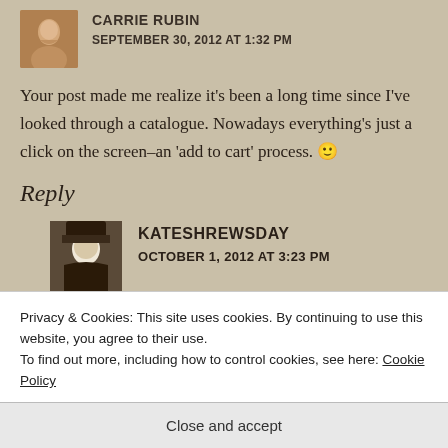CARRIE RUBIN
SEPTEMBER 30, 2012 AT 1:32 PM
Your post made me realize it’s been a long time since I’ve looked through a catalogue. Nowadays everything’s just a click on the screen–an ‘add to cart’ process. 🙂
Reply
KATESHREWSDAY
OCTOBER 1, 2012 AT 3:23 PM
Privacy & Cookies: This site uses cookies. By continuing to use this website, you agree to their use.
To find out more, including how to control cookies, see here: Cookie Policy
Close and accept